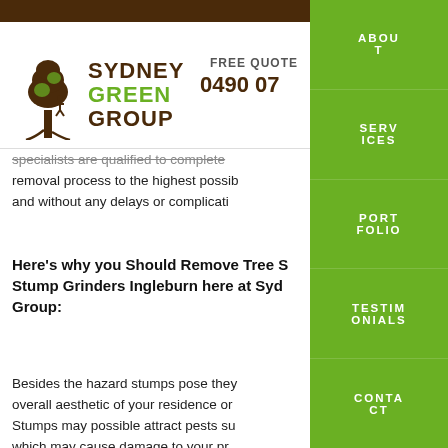[Figure (logo): Sydney Green Group logo with tree illustration and company name]
FREE QUOTE
0490 07...
ABOUT | SERVICES | PORTFOLIO | TESTIMONIALS | CONTACT
specialists are qualified to complete removal process to the highest possible and without any delays or complications
Here's why you Should Remove Tree Stumps with Stump Grinders Ingleburn here at Sydney Green Group:
Besides the hazard stumps pose they affect the overall aesthetic of your residence or property. Stumps may possible attract pests such as termites which may cause damage to your property and surrounding healthy tress. Our experienced stump grinders Ingleburn here at Sydney Green Group will...